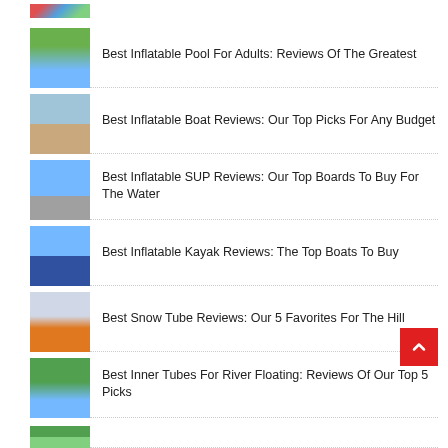[Figure (photo): Partial thumbnail of colorful inflatable product at top]
Best Inflatable Pool For Adults: Reviews Of The Greatest
Best Inflatable Boat Reviews: Our Top Picks For Any Budget
Best Inflatable SUP Reviews: Our Top Boards To Buy For The Water
Best Inflatable Kayak Reviews: The Top Boats To Buy
Best Snow Tube Reviews: Our 5 Favorites For The Hill
Best Inner Tubes For River Floating: Reviews Of Our Top 5 Picks
[Figure (photo): Partial thumbnail at bottom of page]